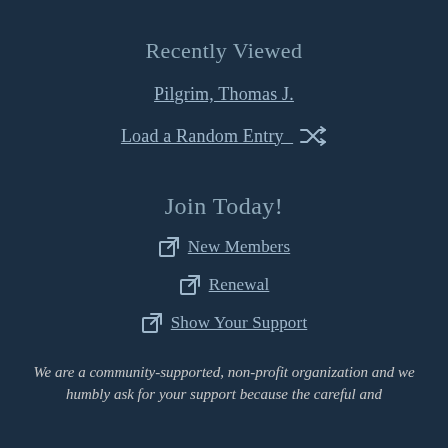Recently Viewed
Pilgrim, Thomas J.
Load a Random Entry
Join Today!
New Members
Renewal
Show Your Support
We are a community-supported, non-profit organization and we humbly ask for your support because the careful and